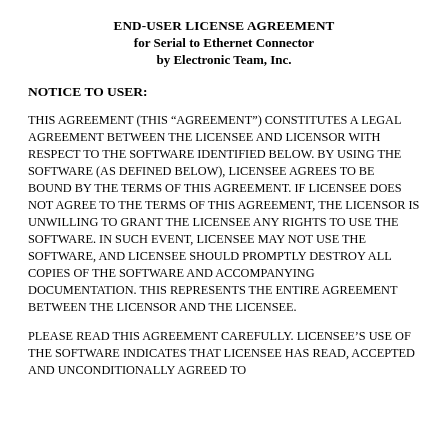END-USER LICENSE AGREEMENT
for Serial to Ethernet Connector
by Electronic Team, Inc.
NOTICE TO USER:
THIS AGREEMENT (THIS “AGREEMENT”) CONSTITUTES A LEGAL AGREEMENT BETWEEN THE LICENSEE AND LICENSOR WITH RESPECT TO THE SOFTWARE IDENTIFIED BELOW. BY USING THE SOFTWARE (AS DEFINED BELOW), LICENSEE AGREES TO BE BOUND BY THE TERMS OF THIS AGREEMENT. IF LICENSEE DOES NOT AGREE TO THE TERMS OF THIS AGREEMENT, THE LICENSOR IS UNWILLING TO GRANT THE LICENSEE ANY RIGHTS TO USE THE SOFTWARE. IN SUCH EVENT, LICENSEE MAY NOT USE THE SOFTWARE, AND LICENSEE SHOULD PROMPTLY DESTROY ALL COPIES OF THE SOFTWARE AND ACCOMPANYING DOCUMENTATION. THIS REPRESENTS THE ENTIRE AGREEMENT BETWEEN THE LICENSOR AND THE LICENSEE.
PLEASE READ THIS AGREEMENT CAREFULLY. LICENSEE’S USE OF THE SOFTWARE INDICATES THAT LICENSEE HAS READ, ACCEPTED AND UNCONDITIONALLY AGREED TO